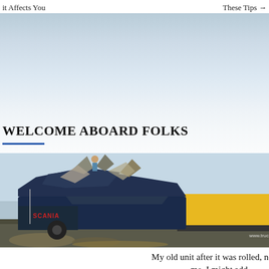it Affects You    These Tips →
WELCOME ABOARD FOLKS
[Figure (photo): A severely damaged Scania truck cab that has been rolled, with the cab crushed and mangled. A yellow tipper trailer is attached and visible behind. The scene is on a flat open road. Watermark reads www.truckcentral.co.uk]
My old unit after it was rolled, not by me. I might add